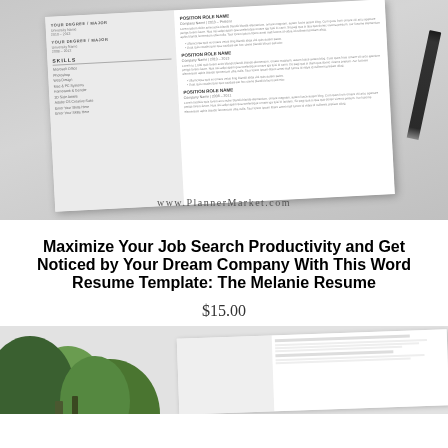[Figure (photo): Product mockup photo showing a resume template document with a pencil on a gray background. The resume has two columns with skills section on left and work experience on right. A watermark reads www.PlannerMarket.com at the bottom.]
Maximize Your Job Search Productivity and Get Noticed by Your Dream Company With This Word Resume Template: The Melanie Resume
$15.00
[Figure (photo): Partial bottom preview showing a plant with green leaves on the left and a white resume document preview on the right against a light gray background.]